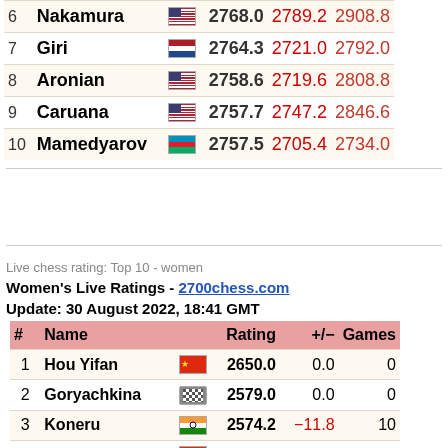| # | Name |  | Rating |  |  |
| --- | --- | --- | --- | --- | --- |
| 6 | Nakamura | 🇺🇸 | 2768.0 | 2789.2 | 2908.8 |
| 7 | Giri | 🇳🇱 | 2764.3 | 2721.0 | 2792.0 |
| 8 | Aronian | 🇺🇸 | 2758.6 | 2719.6 | 2808.8 |
| 9 | Caruana | 🇺🇸 | 2757.7 | 2747.2 | 2846.6 |
| 10 | Mamedyarov | 🇦🇿 | 2757.5 | 2705.4 | 2734.0 |
Live chess rating: Top 10 - women
Women's Live Ratings - 2700chess.com
Update: 30 August 2022, 18:41 GMT
| # | Name |  | Rating | +/− | Games |
| --- | --- | --- | --- | --- | --- |
| 1 | Hou Yifan | 🇨🇳 | 2650.0 | 0.0 | 0 |
| 2 | Goryachkina |  | 2579.0 | 0.0 | 0 |
| 3 | Koneru | 🇮🇳 | 2574.2 | −11.8 | 10 |
| 4 | Ju Wenjun | 🇨🇳 | 2560.0 | 0.0 | 0 |
| 5 | Lagno |  | 2547.0 | 0.0 | 0 |
| 6 | Lei Tingjie | 🇨🇳 | 2535.0 | 0.0 | 0 |